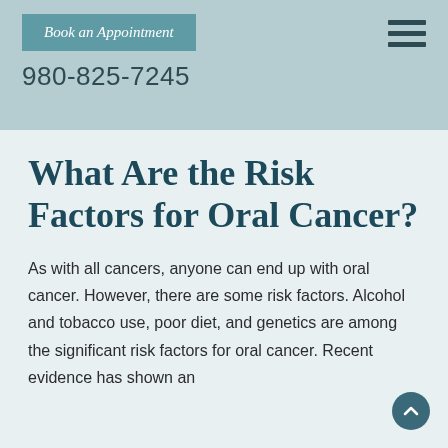Book an Appointment
980-825-7245
What Are the Risk Factors for Oral Cancer?
As with all cancers, anyone can end up with oral cancer. However, there are some risk factors. Alcohol and tobacco use, poor diet, and genetics are among the significant risk factors for oral cancer. Recent evidence has shown an